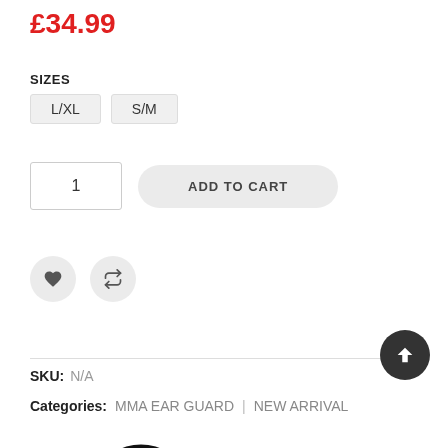£34.99
SIZES
L/XL   S/M
[Figure (screenshot): Quantity input box showing '1' and an 'ADD TO CART' button]
[Figure (screenshot): Two circular icon buttons: a heart (wishlist) and a compare/retweet icon]
[Figure (screenshot): Circular dark scroll-to-top button with upward arrow]
SKU:  N/A
Categories:  MMA EAR GUARD  |  NEW ARRIVAL
[Figure (logo): Partial black and white logo/icon at bottom of page]